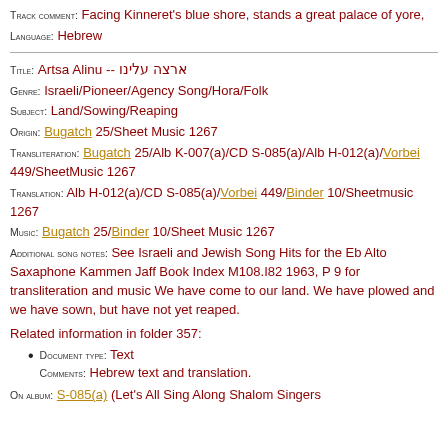Track comment: Facing Kinneret's blue shore, stands a great palace of yore,
Language: Hebrew
Title: Artsa Alinu -- ארצה עלינו
Genre: Israeli/Pioneer/Agency Song/Hora/Folk
Subject: Land/Sowing/Reaping
Origin: Bugatch 25/Sheet Music 1267
Transliteration: Bugatch 25/Alb K-007(a)/CD S-085(a)/Alb H-012(a)/Vorbei 449/SheetMusic 1267
Translation: Alb H-012(a)/CD S-085(a)/Vorbei 449/Binder 10/Sheetmusic 1267
Music: Bugatch 25/Binder 10/Sheet Music 1267
Additional song notes: See Israeli and Jewish Song Hits for the Eb Alto Saxaphone Kammen Jaff Book Index M108.I82 1963, P 9 for transliteration and music We have come to our land. We have plowed and we have sown, but have not yet reaped.
Related information in folder 357:
Document type: Text
Comments: Hebrew text and translation.
On album: S-085(a) (Let's All Sing Along Shalom Singers